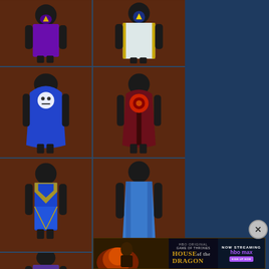[Figure (screenshot): Grid of 6 game character back views wearing various robes and cloaks in fantasy game style. Top row: purple robe character and white/gold cloaked character. Middle row: blue hooded cape character and dark red/maroon cloaked character. Third row: blue tabard with gold trim character and plain blue long robe character. Bottom partial row: two more characters partially visible.]
[Figure (photo): Advertisement banner for HBO Original 'House of the Dragon' - Now Streaming on HBOmax, with a sign up now button and close button]